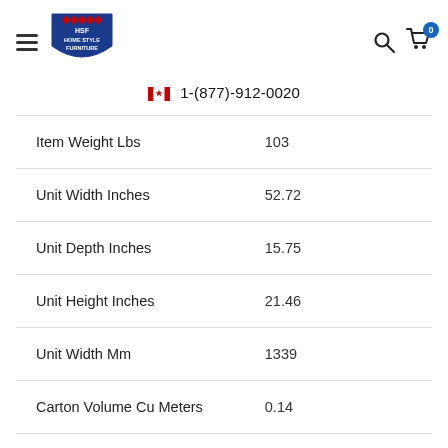[Figure (logo): HSF Home Style Furniture logo — blue shield shape with red diamonds and white text]
🇨🇦 1-(877)-912-0020
|  |  |
| --- | --- |
| Item Weight Lbs | 103 |
| Unit Width Inches | 52.72 |
| Unit Depth Inches | 15.75 |
| Unit Height Inches | 21.46 |
| Unit Width Mm | 1339 |
| Carton Volume Cu Meters | 0.14 |